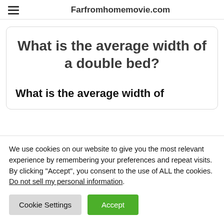Farfromhomemovie.com
What is the average width of a double bed?
What is the average width of
We use cookies on our website to give you the most relevant experience by remembering your preferences and repeat visits. By clicking “Accept”, you consent to the use of ALL the cookies.
Do not sell my personal information.